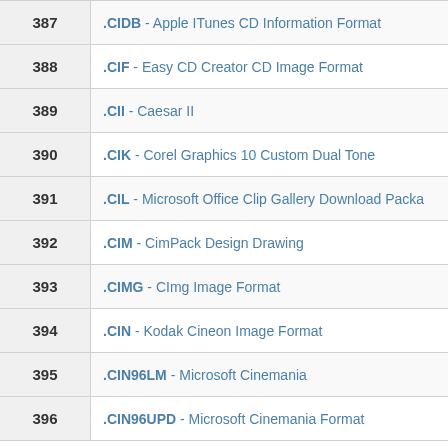| # | Extension / Description |
| --- | --- |
| 387 | .CIDB - Apple ITunes CD Information Format |
| 388 | .CIF - Easy CD Creator CD Image Format |
| 389 | .CII - Caesar II |
| 390 | .CIK - Corel Graphics 10 Custom Dual Tone |
| 391 | .CIL - Microsoft Office Clip Gallery Download Package |
| 392 | .CIM - CimPack Design Drawing |
| 393 | .CIMG - CImg Image Format |
| 394 | .CIN - Kodak Cineon Image Format |
| 395 | .CIN96LM - Microsoft Cinemania |
| 396 | .CIN96UPD - Microsoft Cinemania Format |